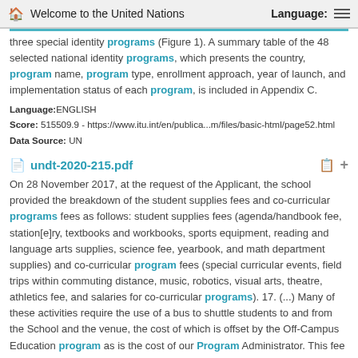Welcome to the United Nations   Language:
three special identity programs (Figure 1). A summary table of the 48 selected national identity programs, which presents the country, program name, program type, enrollment approach, year of launch, and implementation status of each program, is included in Appendix C.
Language:ENGLISH
Score: 515509.9 - https://www.itu.int/en/publica...m/files/basic-html/page52.html
Data Source: UN
undt-2020-215.pdf
On 28 November 2017, at the request of the Applicant, the school provided the breakdown of the student supplies fees and co-curricular programs fees as follows: student supplies fees (agenda/handbook fee, station[e]ry, textbooks and workbooks, sports equipment, reading and language arts supplies, science fee, yearbook, and math department supplies) and co-curricular program fees (special curricular events, field trips within commuting distance, music, robotics, visual arts, theatre, athletics fee, and salaries for co-curricular programs). 17. (...) Many of these activities require the use of a bus to shuttle students to and from the School and the venue, the cost of which is offset by the Off-Campus Education program as is the cost of our Program Administrator. This fee is an eligible expense under the Children’s Fitness Tax Credit program and therefore is tax receiptable. Extra-curricular activities that take place after school are part of a different, voluntary program offering. 85.
Language:ENGLISH